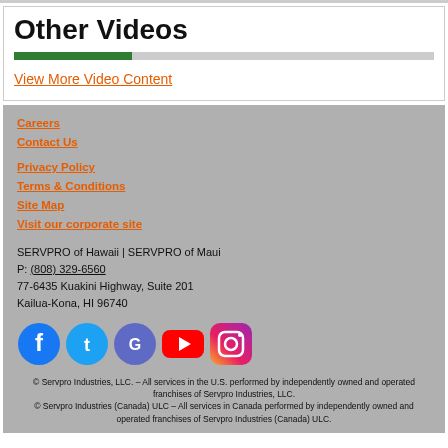Other Videos
View More Video Content
Careers
Contact Us
Privacy Policy
Terms & Conditions
Site Map
Visit our corporate site
SERVPRO of Hawaii | SERVPRO of Maui
P: (808) 329-6560
77-6435 Kuakini Highway, Suite 201
Kailua-Kona, HI 96740
[Figure (other): Social media icons: Facebook, Twitter, Google, YouTube, Instagram]
© Servpro Industries, LLC. – All services in the U.S. performed by independently owned and operated franchises of Servpro Industries, LLC.
© Servpro Industries (Canada) ULC – All services in Canada performed by independently owned and operated franchises of Servpro Industries (Canada) ULC.